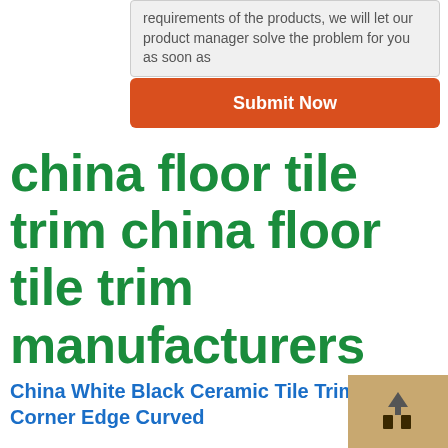requirements of the products, we will let our product manager solve the problem for you as soon as
[Figure (other): Orange 'Submit Now' button]
china floor tile trim china floor tile trim manufacturers
China White Black Ceramic Tile Trim Corner Edge Curved
[Figure (photo): Product photo showing tile trim pieces on wooden surface with upload icon overlay]